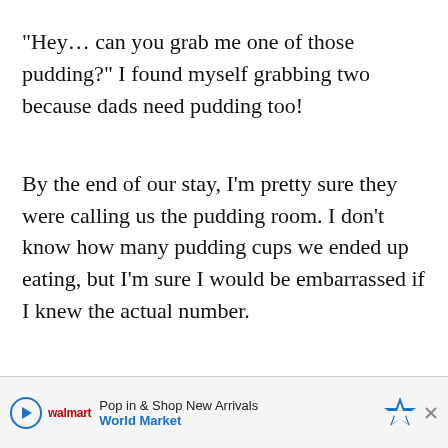“Hey… can you grab me one of those pudding?” I found myself grabbing two because dads need pudding too!
By the end of our stay, I’m pretty sure they were calling us the pudding room. I don’t know how many pudding cups we ended up eating, but I’m sure I would be embarrassed if I knew the actual number.
Pudding has been on my mind since then so these guys happened. While the hospital only had vanilla puddi…s
[Figure (other): Advertisement banner at the bottom: 'Pop in & Shop New Arrivals' with World Market branding, play button icon, navigation arrow icon, and close button.]